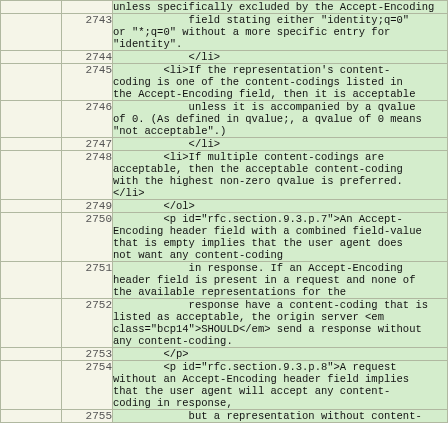|  | line | content |
| --- | --- | --- |
|  |  | unless specifically excluded by the Accept-Encoding |
|  | 2743 |             field stating either "identity;q=0" or "*;q=0" without a more specific entry for "identity". |
|  | 2744 |             </li> |
|  | 2745 |         <li>If the representation's content-coding is one of the content-codings listed in the Accept-Encoding field, then it is acceptable |
|  | 2746 |             unless it is accompanied by a qvalue of 0. (As defined in qvalue;, a qvalue of 0 means "not acceptable".) |
|  | 2747 |             </li> |
|  | 2748 |         <li>If multiple content-codings are acceptable, then the acceptable content-coding with the highest non-zero qvalue is preferred. </li> |
|  | 2749 |         </ol> |
|  | 2750 |         <p id="rfc.section.9.3.p.7">An Accept-Encoding header field with a combined field-value that is empty implies that the user agent does not want any content-coding |
|  | 2751 |             in response. If an Accept-Encoding header field is present in a request and none of the available representations for the |
|  | 2752 |             response have a content-coding that is listed as acceptable, the origin server <em class="bcp14">SHOULD</em> send a response without any content-coding. |
|  | 2753 |         </p> |
|  | 2754 |         <p id="rfc.section.9.3.p.8">A request without an Accept-Encoding header field implies that the user agent will accept any content-coding in response, |
|  | 2755 |             but a representation without content- |